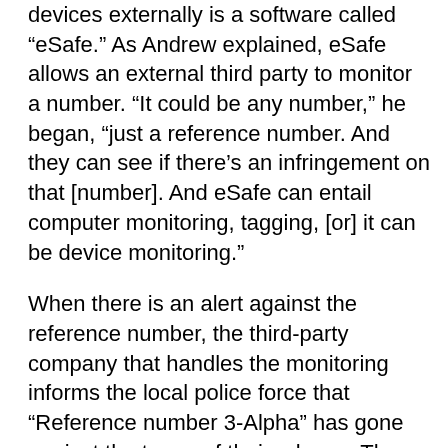devices externally is a software called “eSafe.” As Andrew explained, eSafe allows an external third party to monitor a number. “It could be any number,” he began, “just a reference number. And they can see if there’s an infringement on that [number]. And eSafe can entail computer monitoring, tagging, [or] it can be device monitoring.”
When there is an alert against the reference number, the third-party company that handles the monitoring informs the local police force that “Reference number 3-Alpha” has gone against the terms of their release. They would then go and conduct a home visit to gather more information.
INTERNAL MONITORING USING DI
Offender Management Units, which are scattered throughout the UK and fall under the broader umbrella